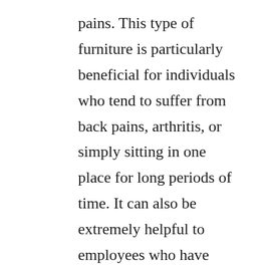pains. This type of furniture is particularly beneficial for individuals who tend to suffer from back pains, arthritis, or simply sitting in one place for long periods of time. It can also be extremely helpful to employees who have trouble concentrating because they spend most of their day seated.
Height adjustable desks
The benefits of height-adjustable desks go far beyond the ergonomics of the desk. These adjustable furniture pieces can reduce stress, distracting employee